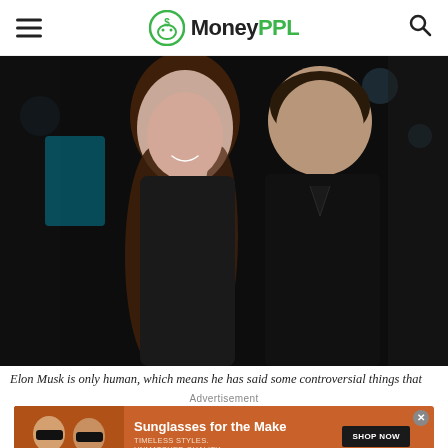MoneyPPL
[Figure (photo): A young woman with dark hair in a black dress and a man in a black suit posing together at what appears to be an event or premiere.]
Elon Musk is only human, which means he has said some controversial things that
Advertisement
[Figure (other): Advertisement banner for sunglasses: orange background with two women wearing sunglasses, text reads 'Sunglasses for the Make', 'TIMELESS STYLES. UNMATCHED QUALITY', with a SHOP NOW button.]